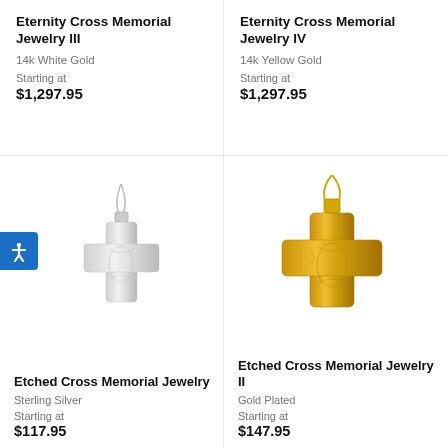Eternity Cross Memorial Jewelry III
14k White Gold
Starting at
$1,297.95
Eternity Cross Memorial Jewelry IV
14k Yellow Gold
Starting at
$1,297.95
[Figure (photo): Silver etched cross memorial jewelry pendant on chain]
[Figure (photo): Gold etched cross memorial jewelry pendant on chain]
Etched Cross Memorial Jewelry
Sterling Silver
Starting at
$117.95
Etched Cross Memorial Jewelry II
Gold Plated
Starting at
$147.95